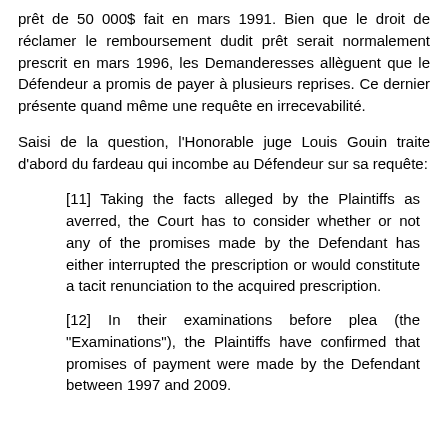prêt de 50 000$ fait en mars 1991. Bien que le droit de réclamer le remboursement dudit prêt serait normalement prescrit en mars 1996, les Demanderesses allèguent que le Défendeur a promis de payer à plusieurs reprises. Ce dernier présente quand même une requête en irrecevabilité.
Saisi de la question, l'Honorable juge Louis Gouin traite d'abord du fardeau qui incombe au Défendeur sur sa requête:
[11] Taking the facts alleged by the Plaintiffs as averred, the Court has to consider whether or not any of the promises made by the Defendant has either interrupted the prescription or would constitute a tacit renunciation to the acquired prescription.
[12] In their examinations before plea (the "Examinations"), the Plaintiffs have confirmed that promises of payment were made by the Defendant between 1997 and 2009.